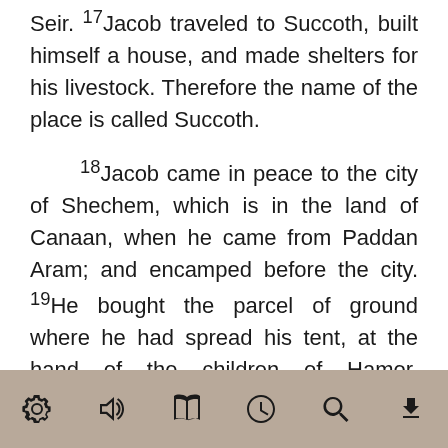Seir. 17Jacob traveled to Succoth, built himself a house, and made shelters for his livestock. Therefore the name of the place is called Succoth.
18Jacob came in peace to the city of Shechem, which is in the land of Canaan, when he came from Paddan Aram; and encamped before the city. 19He bought the parcel of ground where he had spread his tent, at the hand of the children of Hamor, Shechem's father, for one hundred pieces of money. 20He erected an altar there, and called it El Elohe Israel.
[Figure (other): App toolbar with icons: settings (gear), audio (speaker), library (book), history (clock), search (magnifying glass), download (arrow down)]